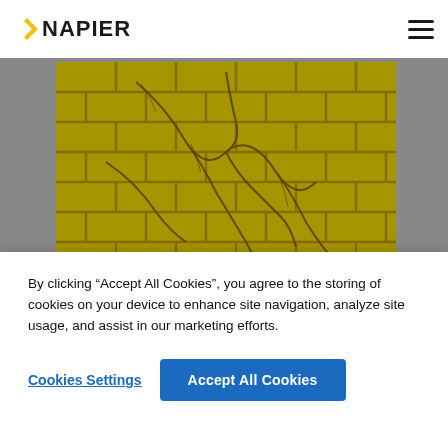NAPIER
[Figure (photo): Close-up aerial view of cracked yellow/ochre brick or tile surface, showing a grid pattern with large cracks and flaking texture.]
Listen to lead: the victim
By clicking “Accept All Cookies”, you agree to the storing of cookies on your device to enhance site navigation, analyze site usage, and assist in our marketing efforts.
Cookies Settings
Accept All Cookies